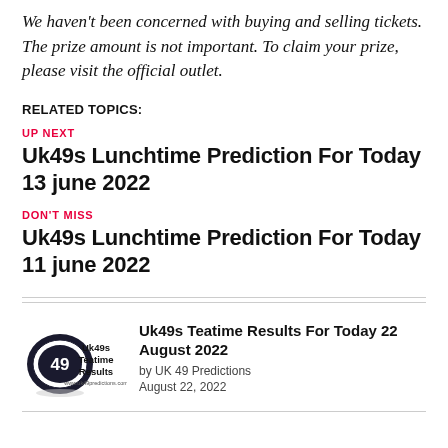We haven't been concerned with buying and selling tickets. The prize amount is not important. To claim your prize, please visit the official outlet.
RELATED TOPICS:
UP NEXT
Uk49s Lunchtime Prediction For Today 13 june 2022
DON'T MISS
Uk49s Lunchtime Prediction For Today 11 june 2022
[Figure (logo): Uk49s Teatime Results logo with number 49 in a circle]
Uk49s Teatime Results For Today 22 August 2022
by UK 49 Predictions
August 22, 2022